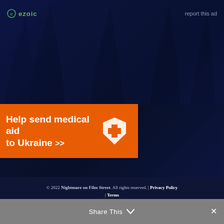[Figure (screenshot): Ezoic ad placeholder with logo and 'report this ad' link at top of dark blue background section]
[Figure (infographic): Orange banner advertisement: 'Help send medical aid to Ukraine >>' with Direct Relief logo on right]
[Figure (screenshot): Ezoic ad placeholder with logo and 'report this ad' link below the banner ad]
© 2022 Nightmare on Film Street. All rights reserved. | Privacy Policy | Terms
BECOME A MEMBER   WRITE FOR US   ADVERTISE   CONTACT   ADMIN
Social icons: f t t instagram spotify
[Figure (screenshot): Share This bar at bottom with chevron down icon and close X button]